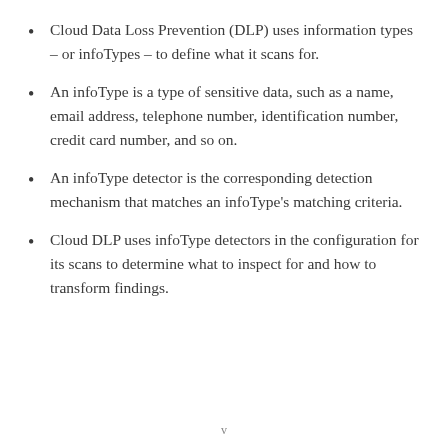Cloud Data Loss Prevention (DLP) uses information types – or infoTypes – to define what it scans for.
An infoType is a type of sensitive data, such as a name, email address, telephone number, identification number, credit card number, and so on.
An infoType detector is the corresponding detection mechanism that matches an infoType's matching criteria.
Cloud DLP uses infoType detectors in the configuration for its scans to determine what to inspect for and how to transform findings.
v